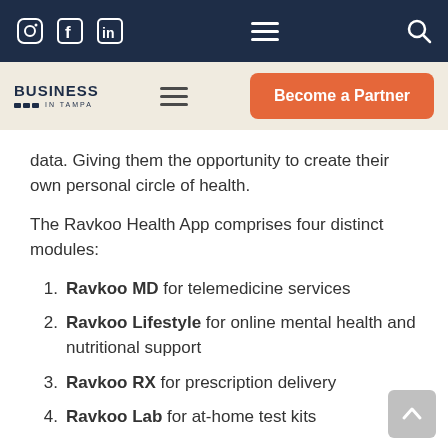Business in Tampa – navigation bar with Instagram, Facebook, LinkedIn icons, hamburger menu, and search icon
Business in Tampa logo, hamburger menu, Become a Partner button
data. Giving them the opportunity to create their own personal circle of health.
The Ravkoo Health App comprises four distinct modules:
Ravkoo MD for telemedicine services
Ravkoo Lifestyle for online mental health and nutritional support
Ravkoo RX for prescription delivery
Ravkoo Lab for at-home test kits